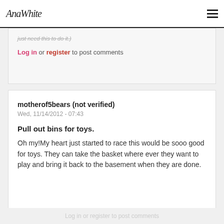AnaWhite
just need this to do it.)
Log in or register to post comments
motherof5bears (not verified)
Wed, 11/14/2012 - 07:43
Pull out bins for toys.
Oh my!My heart just started to race this would be sooo good for toys. They can take the basket where ever they want to play and bring it back to the basement when they are done.
Log in or register to post comments